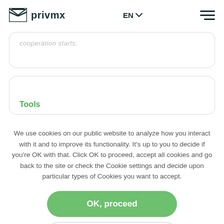privmx | EN | menu
cooperation starts.
Tools
We use cookies on our public website to analyze how you interact with it and to improve its functionality. It's up to you to decide if you're OK with that. Click OK to proceed, accept all cookies and go back to the site or check the Cookie settings and decide upon particular types of Cookies you want to accept.
OK, proceed
Show me Cookie Settings